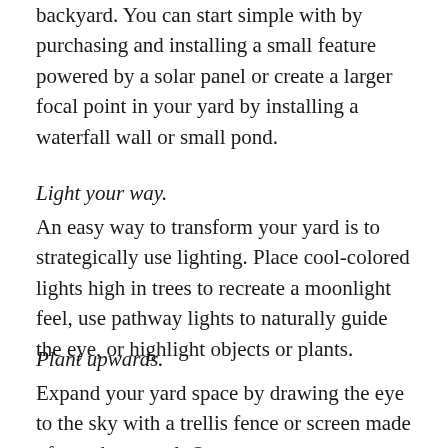backyard. You can start simple with by purchasing and installing a small feature powered by a solar panel or create a larger focal point in your yard by installing a waterfall wall or small pond.
Light your way.
An easy way to transform your yard is to strategically use lighting. Place cool-colored lights high in trees to recreate a moonlight feel, use pathway lights to naturally guide the eye, or highlight objects or plants.
Plant upwards.
Expand your yard space by drawing the eye to the sky with a trellis fence or screen made of wood or metal. Once